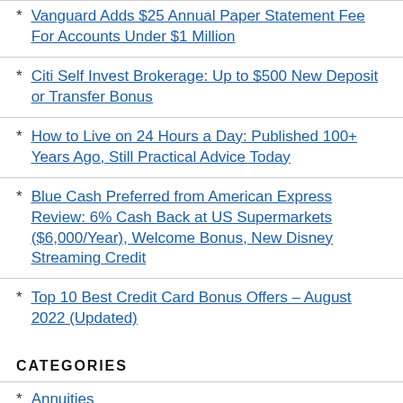Vanguard Adds $25 Annual Paper Statement Fee For Accounts Under $1 Million
Citi Self Invest Brokerage: Up to $500 New Deposit or Transfer Bonus
How to Live on 24 Hours a Day: Published 100+ Years Ago, Still Practical Advice Today
Blue Cash Preferred from American Express Review: 6% Cash Back at US Supermarkets ($6,000/Year), Welcome Bonus, New Disney Streaming Credit
Top 10 Best Credit Card Bonus Offers – August 2022 (Updated)
CATEGORIES
Annuities
Banking